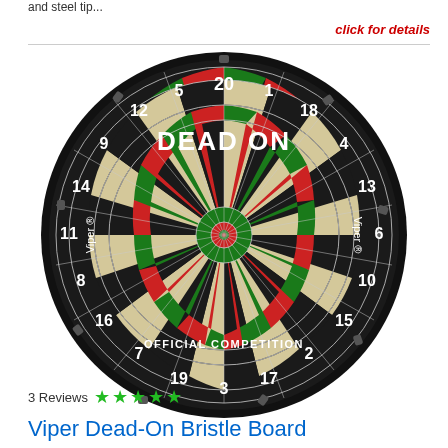and steel tip...
click for details
[Figure (photo): Viper Dead-On bristle dartboard showing a black dartboard with red, green, and cream-colored sections, numbers 1-20 around the rim, 'DEAD ON' text at top and 'OFFICIAL COMPETITION' at bottom, Viper branding on sides.]
3 Reviews ★★★★★
Viper Dead-On Bristle Board